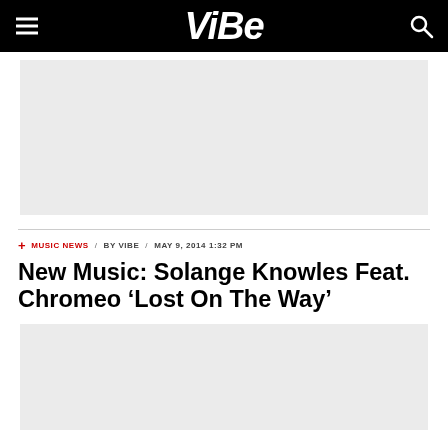VIBE
[Figure (other): Gray advertisement placeholder block at top of page]
+ MUSIC NEWS / BY VIBE / MAY 9, 2014 1:32 PM
New Music: Solange Knowles Feat. Chromeo ‘Lost On The Way’
[Figure (other): Gray advertisement placeholder block at bottom of page]